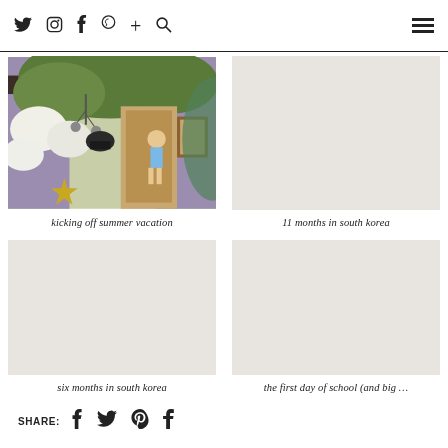Twitter Instagram Facebook Pinterest Plus Search [hamburger menu]
You may also enjoy:
[Figure (photo): Photo of children playing near a purple building with white flowers and a yellow star decoration — kicking off summer vacation]
kicking off summer vacation
[Figure (photo): Placeholder image area for 11 months in south korea article]
11 months in south korea
[Figure (photo): Placeholder image area for six months in south korea article]
six months in south korea
[Figure (photo): Placeholder image area for the first day of school article]
the first day of school (and big …
SHARE: Facebook Twitter Pinterest Tumblr